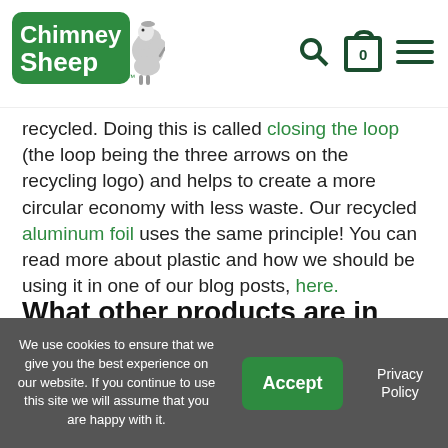Chimney Sheep [logo with navigation icons: search, cart (0), menu]
recycled. Doing this is called closing the loop (the loop being the three arrows on the recycling logo) and helps to create a more circular economy with less waste. Our recycled aluminum foil uses the same principle! You can read more about plastic and how we should be using it in one of our blog posts, here.
What other products are in the recycled range?
Oh, we've got lots and we will be adding more! As we said
We use cookies to ensure that we give you the best experience on our website. If you continue to use this site we will assume that you are happy with it. Accept Privacy Policy